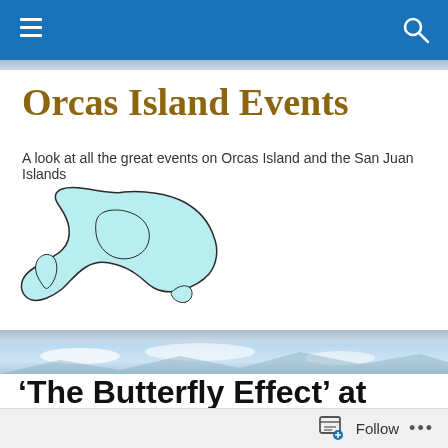Orcas Island Events – navigation bar
Orcas Island Events
A look at all the great events on Orcas Island and the San Juan Islands
[Figure (illustration): Outline map of Orcas Island in light blue/cyan with dark border, showing the distinctive horseshoe shape of the island]
[Figure (photo): Narrow landscape photo strip showing a sky and possibly mountains or water]
'The Butterfly Effect' at Orcas Center